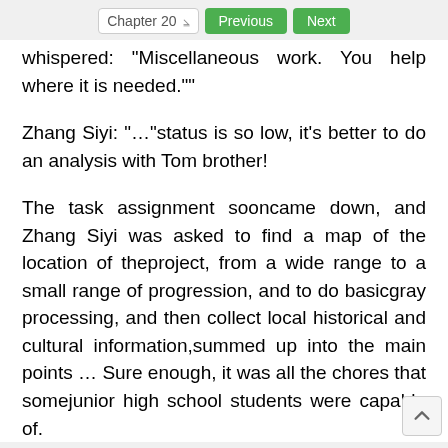Chapter 20  Previous  Next
whispered: "Miscellaneous work. You help where it is needed.""
Zhang Siyi: “…”status is so low, it’s better to do an analysis with Tom brother!
The task assignment sooncame down, and Zhang Siyi was asked to find a map of the location of theproject, from a wide range to a small range of progression, and to do basicgray processing, and then collect local historical and cultural information,summed up into the main points … Sure enough, it was all the chores that somejunior high school students were capable of.